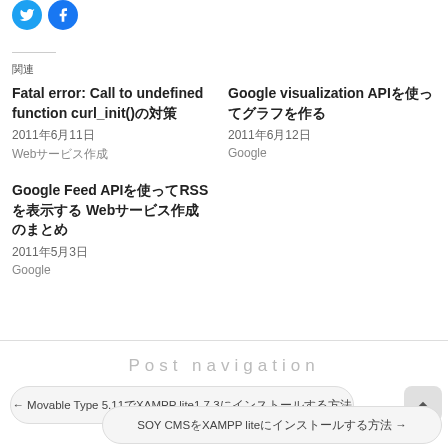[Figure (logo): Twitter and Facebook share icon circles at top left]
関連
Fatal error: Call to undefined function curl_init()対策
2011年6月11日
Webサービス作成
Google visualization APIを使ってグラフを作る
2011年6月12日
Google
Google Feed APIを使ってRSSを表示する Webサービス作成のまとめ
2011年5月3日
Google
Post navigation
← Movable Type 5.11でXAMPP lite1.7.3にインストールする方法
SOY CMSをXAMPP liteにインストールする方法 →